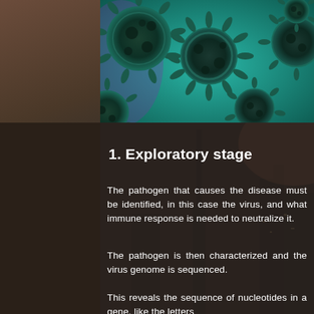[Figure (photo): Close-up microscopic image of coronavirus particles (SARS-CoV-2) shown in teal/green color against a teal background, with dark spiky round virus structures visible]
1. Exploratory stage
The pathogen that causes the disease must be identified, in this case the virus, and what immune response is needed to neutralize it.
The pathogen is then characterized and the virus genome is sequenced.
This reveals the sequence of nucleotides in a gene, like the letters